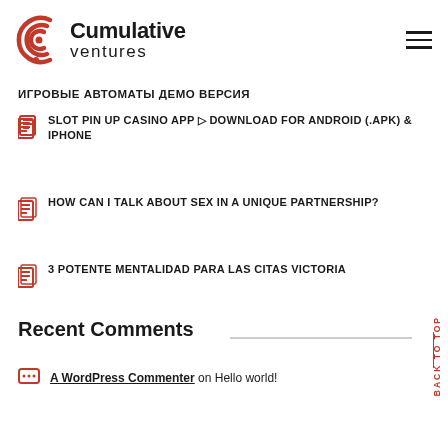[Figure (logo): Cumulative Ventures logo with red circular arc icon and text]
ИГРОВЫЕ АВТОМАТЫ ДЕМО ВЕРСИЯ
SLOT PIN UP CASINO APP ▷ DOWNLOAD FOR ANDROID (.APK) & IPHONE
HOW CAN I TALK ABOUT SEX IN A UNIQUE PARTNERSHIP?
3 POTENTE MENTALIDAD PARA LAS CITAS VICTORIA
Recent Comments
A WordPress Commenter on Hello world!